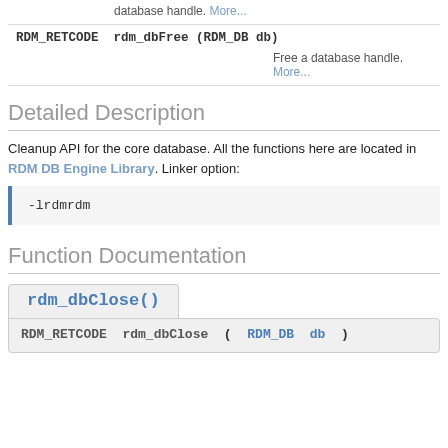database handle. More...
RDM_RETCODE rdm_dbFree (RDM_DB db)
Free a database handle. More...
Detailed Description
Cleanup API for the core database. All the functions here are located in RDM DB Engine Library. Linker option:
Function Documentation
rdm_dbClose()
RDM_RETCODE rdm_dbClose ( RDM_DB db )